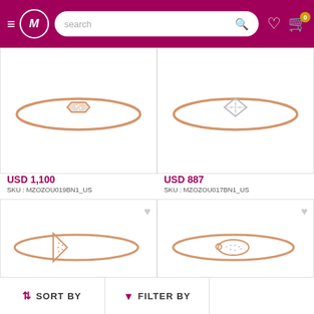[Figure (screenshot): E-commerce website header with hamburger menu, M logo circle, search bar, heart icon, and cart icon with badge '0' on magenta/dark pink background]
[Figure (photo): Rose gold bangle bracelet with hexagonal pave diamond center piece, top-left product card]
USD 1,100
SKU : MZOZOU019BN1_US
[Figure (photo): Rose gold bangle bracelet with square/diamond-shaped outline center piece with diamond accents, top-right product card]
USD 887
SKU : MZOZOU017BN1_US
[Figure (photo): Rose gold bangle bracelet with triangular arrow-shaped center piece with diamond accents, bottom-left product card]
[Figure (photo): Rose gold bangle bracelet with oval/ellipse shaped center piece with diamond accents and clasp, bottom-right product card]
↕ SORT BY
▼ FILTER BY